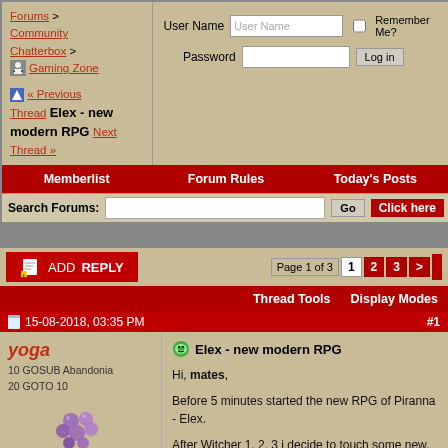Forums > Community Chatterbox > Gaming Zone
« Previous Thread  Elex - new modern RPG  Next Thread »
User Name | Password | Remember Me? | Log in
Memberlist   Forum Rules   Today's Posts
Search Forums: [input] Go  Click here
[Figure (screenshot): ADD REPLY button with pixel icon]
Page 1 of 3  1  2  3  >
Thread Tools   Display Modes
15-08-2018, 03:35 PM   #1
yoga
10 GOSUB Abandonia
20 GOTO 10
Elex - new modern RPG
Hi, mates,
Before 5 minutes started the new RPG of Piranna - Elex.
After Witcher 1, 2, 3 i decide to touch some new, unknown game, kindly recommended